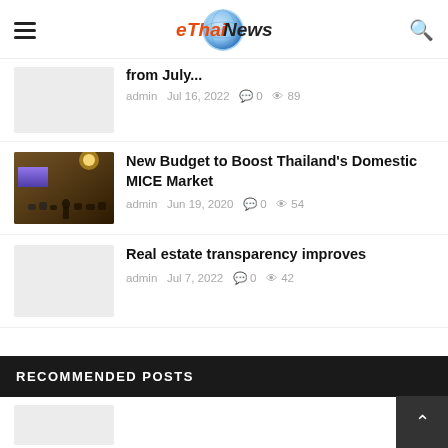eThaiNews
from July...
admin  Jul 16, 2022  0  89
New Budget to Boost Thailand's Domestic MICE Market
admin  Jun 19, 2020  0  54
Real estate transparency improves
admin  Jul 7, 2022  0  42
RECOMMENDED POSTS